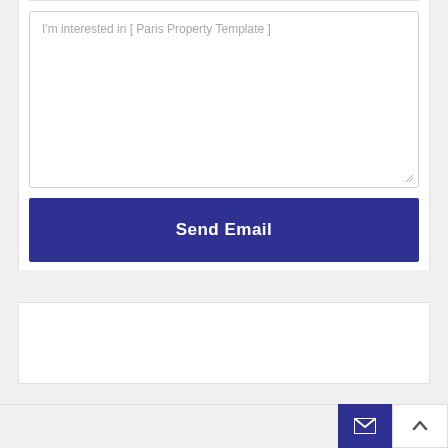I'm interested in [ Paris Property Template ]
Send Email